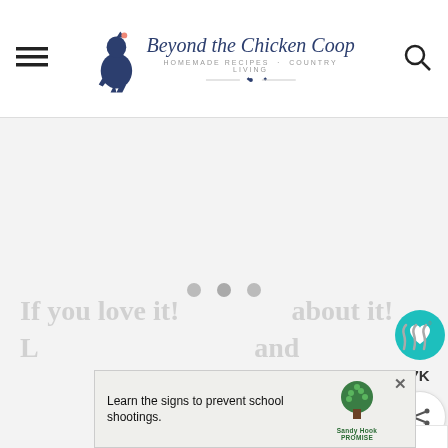Beyond the Chicken Coop — Homemade Recipes · Country Living
[Figure (screenshot): Loading placeholder area with three gray dots on light gray background]
[Figure (infographic): Floating social buttons: teal heart button with 7K count and share button]
[Figure (infographic): What's Next widget showing Orange Sherbet thumbnail and label]
If you love it! ...about it... °
[Figure (screenshot): Sandy Hook Promise advertisement: Learn the signs to prevent school shootings.]